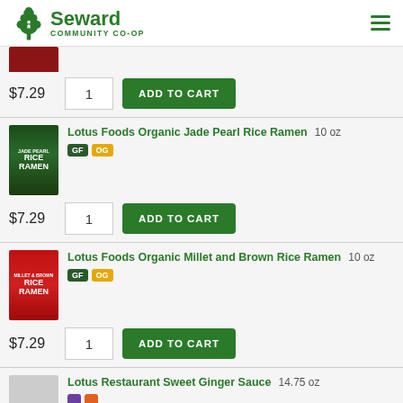Seward Community Co-op
$7.29  1  ADD TO CART
[Figure (photo): Lotus Foods Organic Jade Pearl Rice Ramen product package (green)]
Lotus Foods Organic Jade Pearl Rice Ramen  10 oz  GF  OG
$7.29  1  ADD TO CART
[Figure (photo): Lotus Foods Organic Millet and Brown Rice Ramen product package (red)]
Lotus Foods Organic Millet and Brown Rice Ramen  10 oz  GF  OG
$7.29  1  ADD TO CART
Lotus Restaurant Sweet Ginger Sauce  14.75 oz